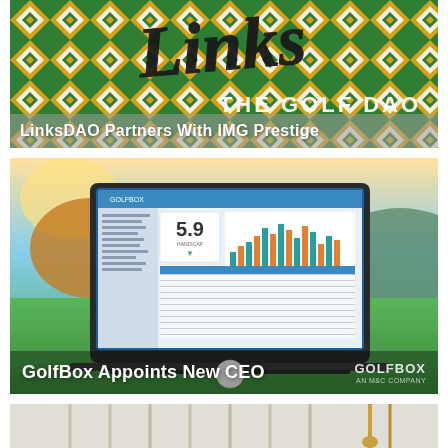[Figure (photo): LinksDAO branded image with green and gold diamond/argyle pattern background, cursive 'Links' text, and 'THE GOLF DAO' subtitle. White text overlay reads 'LinksDAO Partners With IMG Prestige'.]
LinksDAO Partners With IMG Prestige
[Figure (photo): GolfBox software screenshot on a laptop computer displayed on a golf course with green fairway background and autumn trees. Shows golf performance analytics dashboard with bar charts and statistics (5.9 score). White text overlay reads 'GolfBox Appoints New CEO' with GolfBox logo.]
GolfBox Appoints New CEO
[Figure (photo): Partial image of golf clubs (irons) against a light background with a gold-colored golf club visible.]